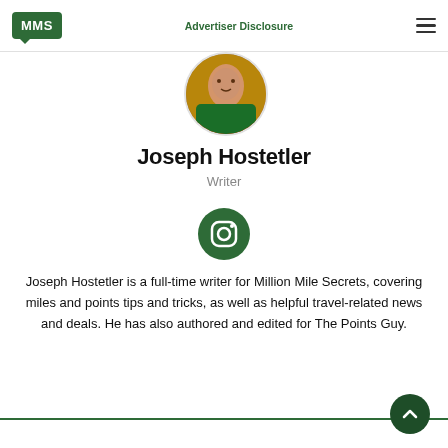MMS | Advertiser Disclosure
[Figure (photo): Circular profile photo of Joseph Hostetler outdoors]
Joseph Hostetler
Writer
[Figure (other): Instagram icon — green circle with camera outline]
Joseph Hostetler is a full-time writer for Million Mile Secrets, covering miles and points tips and tricks, as well as helpful travel-related news and deals. He has also authored and edited for The Points Guy.